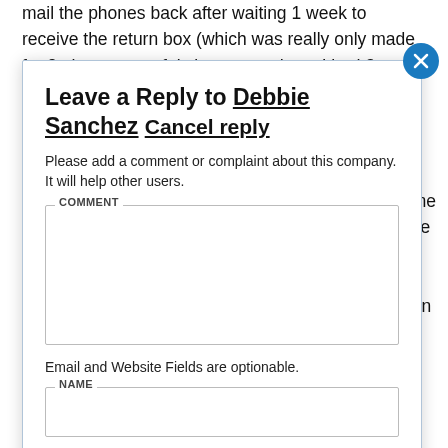mail the phones back after waiting 1 week to receive the return box (which was really only made for 2 phones to safely be returned, yet I had 3 devices). I received email
Leave a Reply to Debbie Sanchez Cancel reply
Please add a comment or complaint about this company. It will help other users.
COMMENT
Email and Website Fields are optionable.
NAME
more money then what was promised and now I am having work with a collection agency to clear up a collection I should never have had in the first place. I will